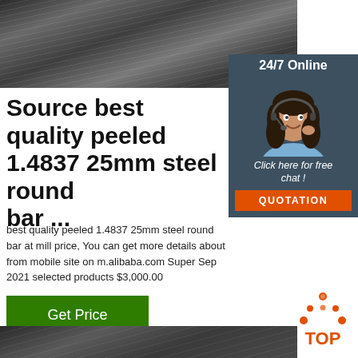[Figure (photo): Steel plate or bar surface texture photo at top of page]
[Figure (infographic): 24/7 Online customer service panel with agent photo, 'Click here for free chat!' text and orange QUOTATION button]
Source best quality peeled 1.4837 25mm steel round bar ...
best quality peeled 1.4837 25mm steel round bar at mill price, You can get more details about from mobile site on m.alibaba.com Super Sep 2021 selected products $3,000.00
[Figure (infographic): Green 'Get Price' button]
[Figure (logo): Orange TOP logo with dot triangle above text]
[Figure (photo): Dark steel surface photo strip at bottom of page]